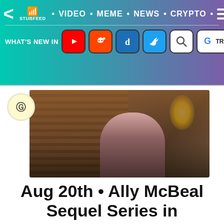StubFeed · VIDEO · MEME · NEWS · CRYPTO
WHAT'S NEW IN [YouTube] [Reddit] [Digg] [Twitter] [Search] [G TRANSLATE]
[Figure (photo): A woman with blonde hair in a dark blazer sitting in an indoor scene with wooden blinds and a yellow lamp in the background.]
Aug 20th • Ally McBeal Sequel Series in